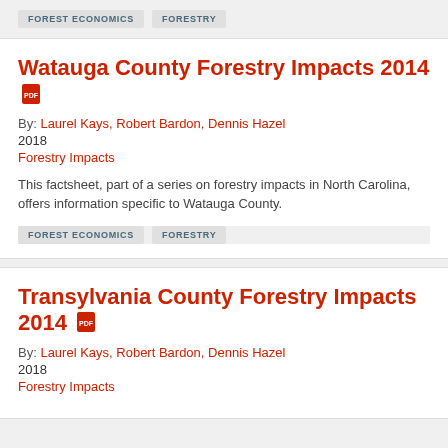FOREST ECONOMICS   FORESTRY
Watauga County Forestry Impacts 2014
By: Laurel Kays, Robert Bardon, Dennis Hazel
2018
Forestry Impacts
This factsheet, part of a series on forestry impacts in North Carolina, offers information specific to Watauga County.
FOREST ECONOMICS   FORESTRY
Transylvania County Forestry Impacts 2014
By: Laurel Kays, Robert Bardon, Dennis Hazel
2018
Forestry Impacts